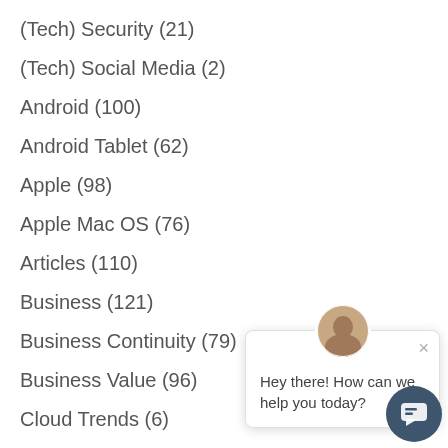(Tech) Security (21)
(Tech) Social Media (2)
Android (100)
Android Tablet (62)
Apple (98)
Apple Mac OS (76)
Articles (110)
Business (121)
Business Continuity (79)
Business Value (96)
Cloud Trends (6)
Cloud-Office 365 (91)
Events (2)
Feed back with Feedback (8)
[Figure (other): Chat popup widget with avatar photo of a woman, close button (×), message 'Hey there! How can we help you today?', and a dark blue circular chat launcher button at bottom right.]